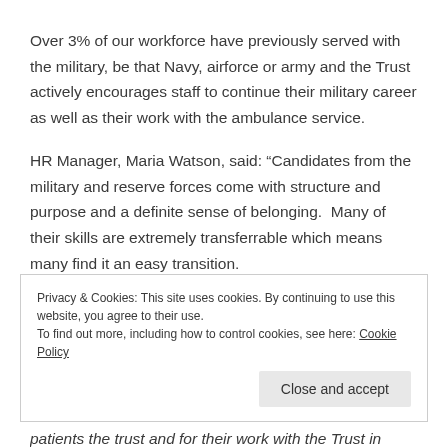Over 3% of our workforce have previously served with the military, be that Navy, airforce or army and the Trust actively encourages staff to continue their military career as well as their work with the ambulance service.
HR Manager, Maria Watson, said: “Candidates from the military and reserve forces come with structure and purpose and a definite sense of belonging.  Many of their skills are extremely transferrable which means many find it an easy transition.
Privacy & Cookies: This site uses cookies. By continuing to use this website, you agree to their use.
To find out more, including how to control cookies, see here: Cookie Policy
patients the trust and for their work with the Trust in